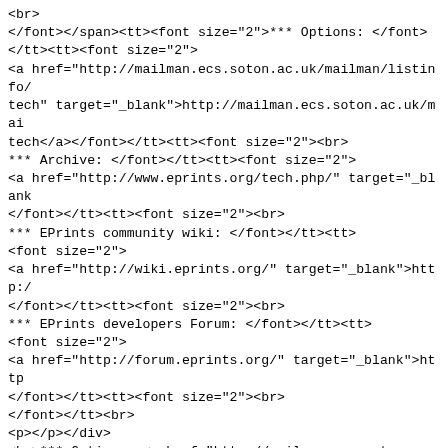<br>
</font></span><tt><font size="2">*** Options: </font>
</tt><tt><font size="2">
<a href="http://mailman.ecs.soton.ac.uk/mailman/listinfo/eprints-tech" target="_blank">http://mailman.ecs.soton.ac.uk/mailman/listinfo/eprints-tech</a></font></tt><tt><font size="2"><br>
*** Archive: </font></tt><tt><font size="2">
<a href="http://www.eprints.org/tech.php/" target="_blank"></a>
</font></tt><tt><font size="2"><br>
*** EPrints community wiki: </font></tt><tt>
<font size="2">
<a href="http://wiki.eprints.org/" target="_blank">http:/...</a>
</font></tt><tt><font size="2"><br>
*** EPrints developers Forum: </font></tt><tt>
<font size="2">
<a href="http://forum.eprints.org/" target="_blank">http...</a>
</font></tt><tt><font size="2"><br>
</font></tt><tt><br>
<p></p></div>
<br>*** Options: <a href="http://mailman.ecs.soton.ac.uk/mailman/listinfo/eprints-tech" rel="noreferrer" target="_blank">http://mailman.ecs.soton.ac.uk/mailman/listinfo/eprints-tech</a><br>
*** Archive: <a href="http://www.eprints.org/tech.php/" r...</a><br>
*** EPrints community wiki: <a href="http://wiki.eprints...</a><br>
*** EPrints developers Forum: <a href="http://forum.epri...</a><br>
<br></blockquote></div><br></div>